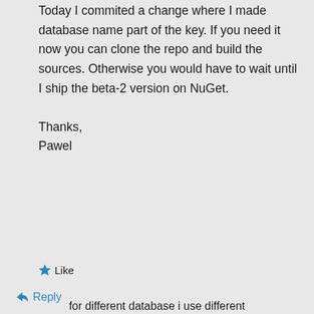Today I commited a change where I made database name part of the key. If you need it now you can clone the repo and build the sources. Otherwise you would have to wait until I ship the beta-2 version on NuGet.

Thanks,
Pawel
★ Like
↳ Reply
Privacy & Cookies: This site uses cookies. By continuing to use this website, you agree to their use.
To find out more, including how to control cookies, see here: Cookie Policy
Close and accept
for different database i use different